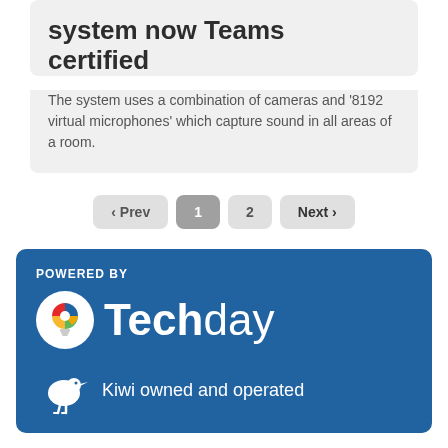system now Teams certified
The system uses a combination of cameras and ‘8192 virtual microphones’ which capture sound in all areas of a room.
‹ Prev  1  2  Next ›
POWERED BY
[Figure (logo): Techday logo with colorful lightbulb icon and white text on blue background]
Kiwi owned and operated